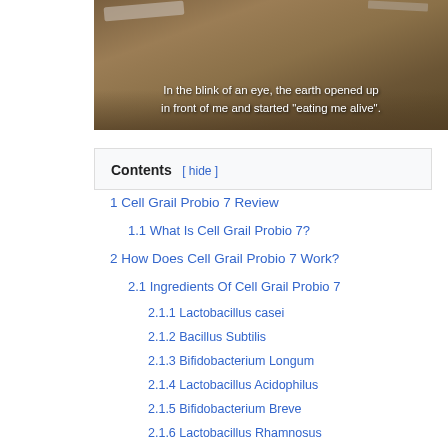[Figure (photo): Earth/soil background image with overlaid white text reading: 'In the blink of an eye, the earth opened up in front of me and started "eating me alive".']
Contents [ hide ]
1 Cell Grail Probio 7 Review
1.1 What Is Cell Grail Probio 7?
2  How Does Cell Grail Probio 7 Work?
2.1  Ingredients Of Cell Grail Probio 7
2.1.1  Lactobacillus casei
2.1.2  Bacillus Subtilis
2.1.3  Bifidobacterium Longum
2.1.4  Lactobacillus Acidophilus
2.1.5  Bifidobacterium Breve
2.1.6  Lactobacillus Rhamnosus
2.1.7  Lactobacillus Plantarum